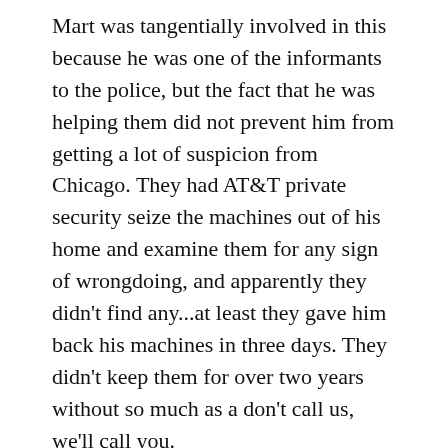Mart was tangentially involved in this because he was one of the informants to the police, but the fact that he was helping them did not prevent him from getting a lot of suspicion from Chicago. They had AT&T private security seize the machines out of his home and examine them for any sign of wrongdoing, and apparently they didn't find any...at least they gave him back his machines in three days. They didn't keep them for over two years without so much as a don't call us, we'll call you.
JL: How did the Chicago authorities get involved in Texas operations?
BS: Well, you know, that's just the nature of